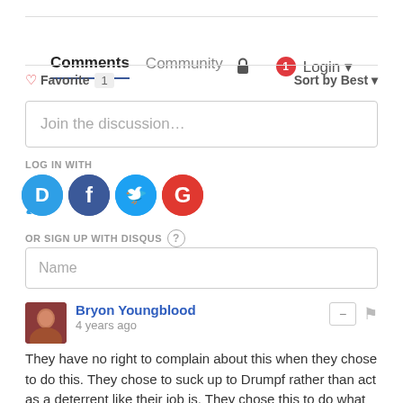Comments  Community  🔒  1  Login ▾
♡ Favorite 1   Sort by Best ▾
Join the discussion…
LOG IN WITH
[Figure (other): Social login icons: Disqus (D), Facebook (f), Twitter (bird), Google (G)]
OR SIGN UP WITH DISQUS ?
Name
Bryon Youngblood
4 years ago
They have no right to complain about this when they chose to do this. They chose to suck up to Drumpf rather than act as a deterrent like their job is. They chose this to do what